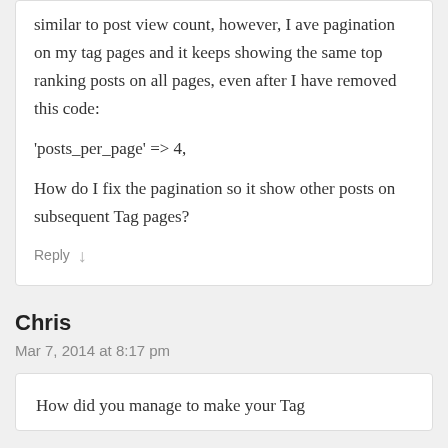similar to post view count, however, I ave pagination on my tag pages and it keeps showing the same top ranking posts on all pages, even after I have removed this code:
'posts_per_page' => 4,
How do I fix the pagination so it show other posts on subsequent Tag pages?
Reply ↓
Chris
Mar 7, 2014 at 8:17 pm
How did you manage to make your Tag